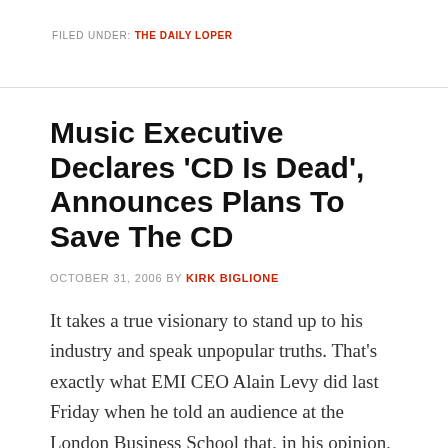FILED UNDER: THE DAILY LOPER
Music Executive Declares 'CD Is Dead', Announces Plans To Save The CD
OCTOBER 31, 2006 BY KIRK BIGLIONE
It takes a true visionary to stand up to his industry and speak unpopular truths. That's exactly what EMI CEO Alain Levy did last Friday when he told an audience at the London Business School that, in his opinion, the CD format is dead. The audience gasped, the media ran banner headlines lamenting the